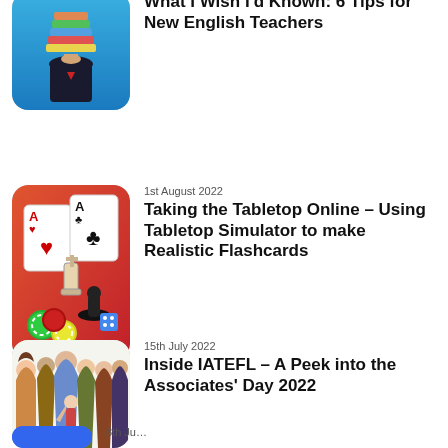[Figure (illustration): Person in suit with stack of books on head against blue gradient background]
What I Wish I'd Known: 6 Tips for New English Teachers
[Figure (illustration): Playing cards (Ace of hearts, Ace of clubs), chess pieces, poker chips on orange-red gradient background]
1st August 2022
Taking the Tabletop Online – Using Tabletop Simulator to make Realistic Flashcards
[Figure (illustration): Cartoon group of diverse people standing together]
15th July 2022
Inside IATEFL – A Peek into the Associates' Day 2022
[Figure (illustration): Partially visible blue rounded thumbnail at bottom]